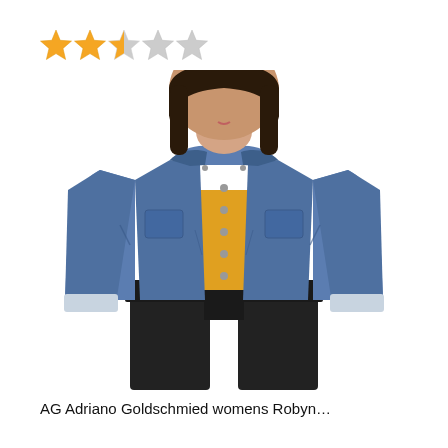[Figure (other): Star rating showing 2.5 out of 5 stars: two full gold stars, one half-filled star, two empty stars]
[Figure (photo): A woman wearing a blue denim jacket over a yellow top and black pants. The jacket is cropped with rolled cuffs, shown from neck to thighs on a white background.]
AG Adriano Goldschmied womens Robyn...